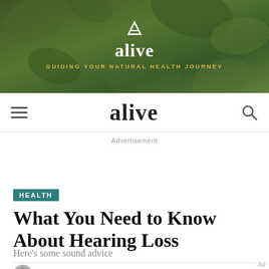[Figure (photo): Hero banner with green plant/leaf background and 'alive' magazine logo with tagline 'GUIDING YOUR NATURAL HEALTH JOURNEY']
alive
Advertisement
HEALTH
What You Need to Know About Hearing Loss
Here’s some sound advice